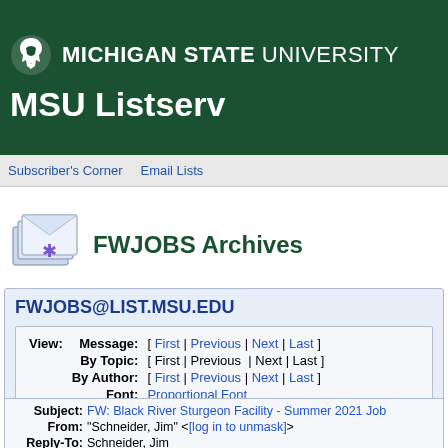MICHIGAN STATE UNIVERSITY
MSU Listserv
Subscriber's Corner   Email Lists
FWJOBS Archives
FWJOBS@LIST.MSU.EDU
View: Message: [ First | Previous | Next | Last ]
By Topic: [ First | Previous | Next | Last ]
By Author: [ First | Previous | Next | Last ]
Font: Proportional Font
Subject: FW: Black River Sturgeon Facility - Summer 2021 Job...
From: "Schneider, Jim" <[log in to unmask]>
Reply-To: Schneider, Jim